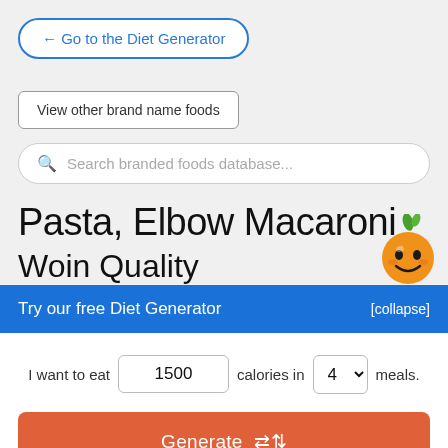← Go to the Diet Generator
View other brand name foods
Search branded foods database...
Pasta, Elbow Macaroni
[Figure (illustration): Orange smiling mascot character with green leaf on top]
Try our free Diet Generator
[collapse]
I want to eat 1500 calories in 4 meals.
Generate